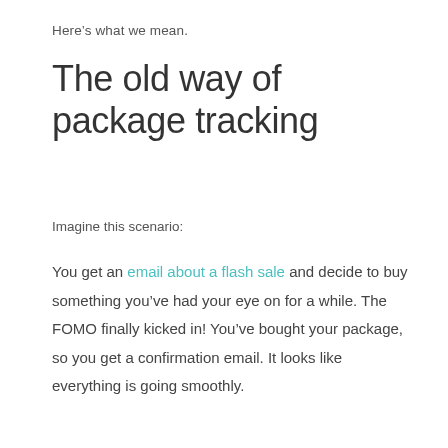Here's what we mean.
The old way of package tracking
Imagine this scenario:
You get an email about a flash sale and decide to buy something you've had your eye on for a while. The FOMO finally kicked in! You've bought your package, so you get a confirmation email. It looks like everything is going smoothly.